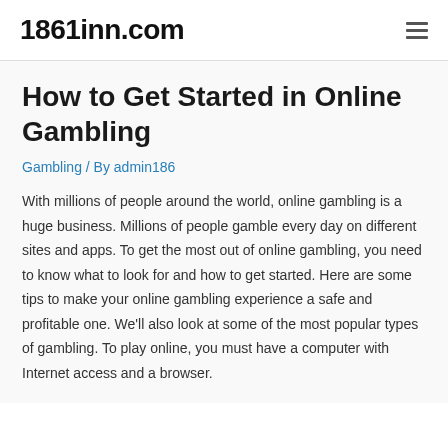1861inn.com
How to Get Started in Online Gambling
Gambling / By admin186
With millions of people around the world, online gambling is a huge business. Millions of people gamble every day on different sites and apps. To get the most out of online gambling, you need to know what to look for and how to get started. Here are some tips to make your online gambling experience a safe and profitable one. We'll also look at some of the most popular types of gambling. To play online, you must have a computer with Internet access and a browser.